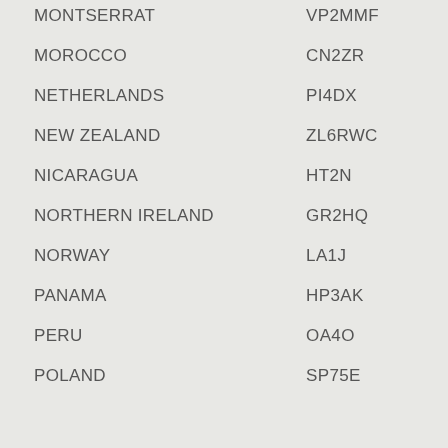MONTSERRAT — VP2MMF
MOROCCO — CN2ZR
NETHERLANDS — PI4DX
NEW ZEALAND — ZL6RWC
NICARAGUA — HT2N
NORTHERN IRELAND — GR2HQ
NORWAY — LA1J
PANAMA — HP3AK
PERU — OA4O
POLAND — SP75E